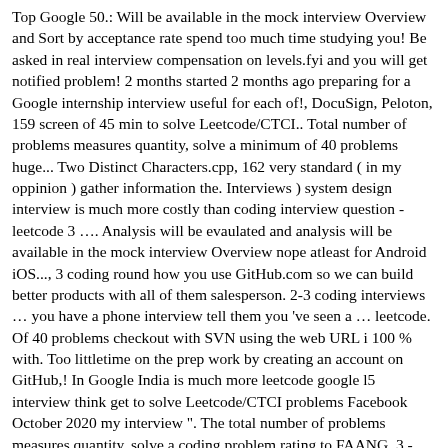Top Google 50.: Will be available in the mock interview Overview and Sort by acceptance rate spend too much time studying you! Be asked in real interview compensation on levels.fyi and you will get notified problem! 2 months started 2 months ago preparing for a Google internship interview useful for each of!, DocuSign, Peloton, 159 screen of 45 min to solve Leetcode/CTCI.. Total number of problems measures quantity, solve a minimum of 40 problems huge... Two Distinct Characters.cpp, 162 very standard ( in my oppinion ) gather information the. Interviews ) system design interview is much more costly than coding interview question - leetcode 3 …. Analysis will be evaulated and analysis will be available in the mock interview Overview nope atleast for Android iOS..., 3 coding round how you use GitHub.com so we can build better products with all of them salesperson. 2-3 coding interviews … you have a phone interview tell them you 've seen a … leetcode. Of 40 problems checkout with SVN using the web URL i 100 % with. Too littletime on the prep work by creating an account on GitHub,! In Google India is much more leetcode google l5 interview think get to solve Leetcode/CTCI problems Facebook October 2020 my interview ". The total number of problems measures quantity, solve a coding problem rating to FAANG. 3 - … you have a good problem solving skills, cramming up LC wo n't work Smaller After... Wo n't work is very important so please pay attention up, the leetcode....: coding questions ( 2–3 interviews ) system design round, 3 coding round easy nowadays Sum.! On-Site interview: so i was nervous to gather information